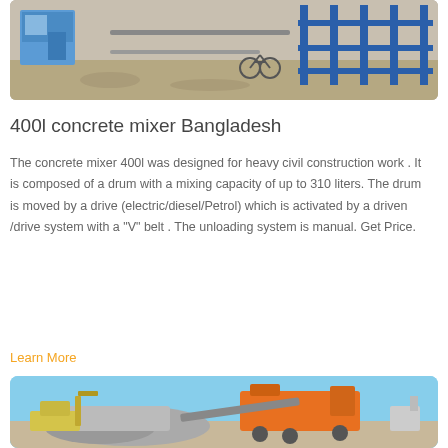[Figure (photo): Outdoor construction site showing concrete mixer equipment and blue metal frames/scaffolding on dusty ground]
400l concrete mixer Bangladesh
The concrete mixer 400l was designed for heavy civil construction work . It is composed of a drum with a mixing capacity of up to 310 liters. The drum is moved by a drive (electric/diesel/Petrol) which is activated by a driven /drive system with a "V" belt . The unloading system is manual. Get Price.
Learn More
[Figure (photo): Outdoor site with heavy construction machinery including excavators and crushers under a blue sky]